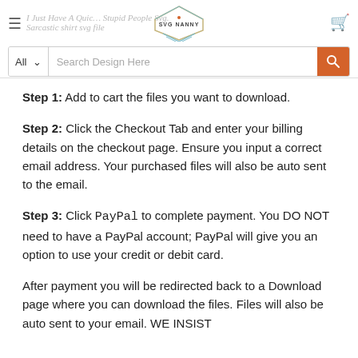SVG Nanny — I Just Have A Quick Question About Stupid People Svg. Sarcastic shirt svg file. Search Design Here
Step 1: Add to cart the files you want to download.
Step 2: Click the Checkout Tab and enter your billing details on the checkout page. Ensure you input a correct email address. Your purchased files will also be auto sent to the email.
Step 3: Click PayPal to complete payment. You DO NOT need to have a PayPal account; PayPal will give you an option to use your credit or debit card.
After payment you will be redirected back to a Download page where you can download the files. Files will also be auto sent to your email. WE INSIST you check your spam/junk...